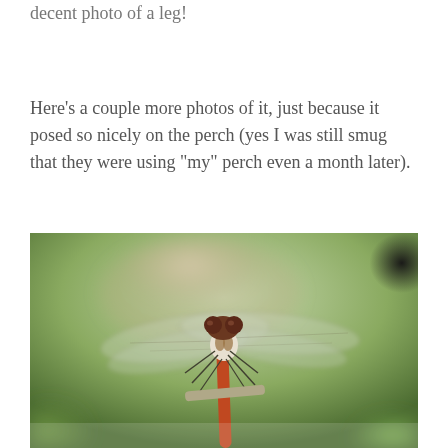decent photo of a leg!
Here’s a couple more photos of it, just because it posed so nicely on the perch (yes I was still smug that they were using “my” perch even a month later).
[Figure (photo): Close-up macro photograph of a dragonfly perched on a stick or twig, viewed from above-front. The dragonfly has large compound brown eyes, transparent veined wings spread out to the sides, a reddish-orange abdomen, and a whitish thorax area. The background is a soft bokeh of green leaves and a pale branch.]